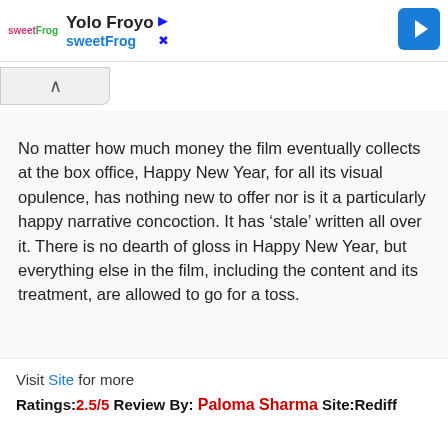[Figure (screenshot): Advertisement banner for 'Yolo Froyo sweetFrog' with logo, app name, and blue navigation arrow button]
No matter how much money the film eventually collects at the box office, Happy New Year, for all its visual opulence, has nothing new to offer nor is it a particularly happy narrative concoction. It has ‘stale’ written all over it. There is no dearth of gloss in Happy New Year, but everything else in the film, including the content and its treatment, are allowed to go for a toss.
Visit Site for more
Ratings:2.5/5 Review By: Paloma Sharma Site:Rediff